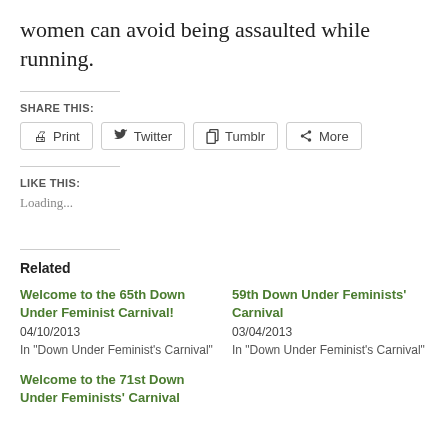women can avoid being assaulted while running.
SHARE THIS:
Print  Twitter  Tumblr  More
LIKE THIS:
Loading...
Related
Welcome to the 65th Down Under Feminist Carnival!
04/10/2013
In "Down Under Feminist's Carnival"
59th Down Under Feminists' Carnival
03/04/2013
In "Down Under Feminist's Carnival"
Welcome to the 71st Down Under Feminists' Carnival